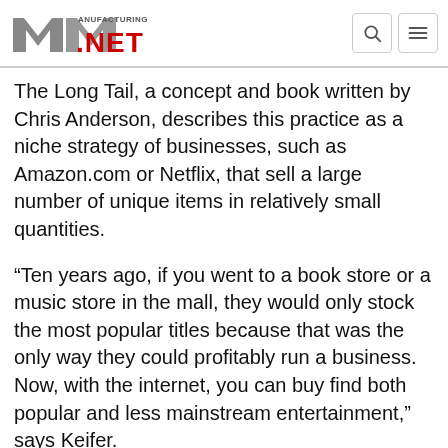Manufacturing.net
The Long Tail, a concept and book written by Chris Anderson, describes this practice as a niche strategy of businesses, such as Amazon.com or Netflix, that sell a large number of unique items in relatively small quantities.
“Ten years ago, if you went to a book store or a music store in the mall, they would only stock the most popular titles because that was the only way they could profitably run a business. Now, with the internet, you can buy find both popular and less mainstream entertainment,” says Keifer.
Just as the internet changed consumer buying habits, it has changed manufacturers’ business-to-business practices, particularly EDI